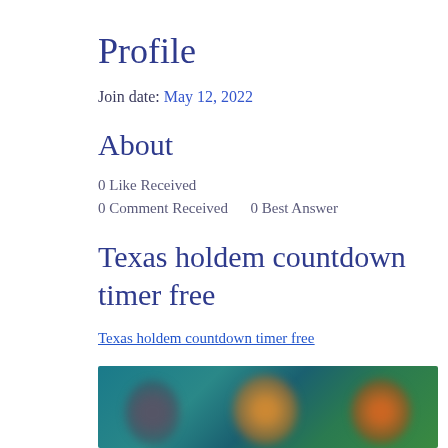Profile
Join date: May 12, 2022
About
0 Like Received
0 Comment Received    0 Best Answer
Texas holdem countdown timer free
Texas holdem countdown timer free
[Figure (photo): Blurred photo showing multiple people against a teal/green background]